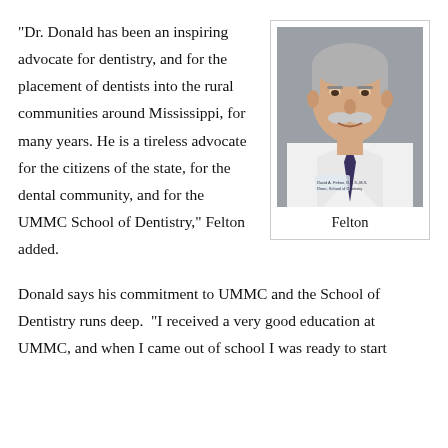“Dr. Donald has been an inspiring advocate for dentistry, and for the placement of dentists into the rural communities around Mississippi, for many years. He is a tireless advocate for the citizens of the state, for the dental community, and for the UMMC School of Dentistry,” Felton added.
[Figure (photo): Professional headshot of Dr. Felton, a man with gray hair and a white mustache wearing a white lab coat and dark tie, with a name badge visible.]
Felton
Donald says his commitment to UMMC and the School of Dentistry runs deep. “I received a very good education at UMMC, and when I came out of school I was ready to start